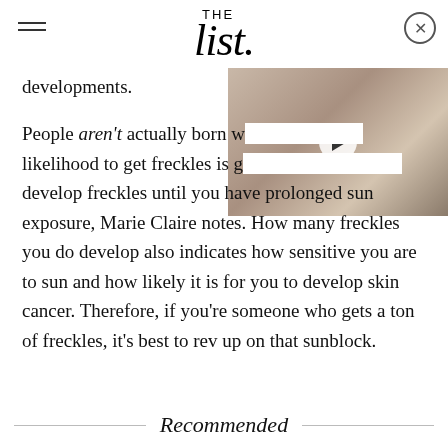THE List
[Figure (screenshot): Video thumbnail showing two people embracing, with a play button overlay. Part of a webpage video player.]
developments.

People aren't actually born with freckles; the likelihood to get freckles is genetic, but you won't develop freckles until you have prolonged sun exposure, Marie Claire notes. How many freckles you do develop also indicates how sensitive you are to sun and how likely it is for you to develop skin cancer. Therefore, if you're someone who gets a ton of freckles, it's best to rev up on that sunblock.
Recommended